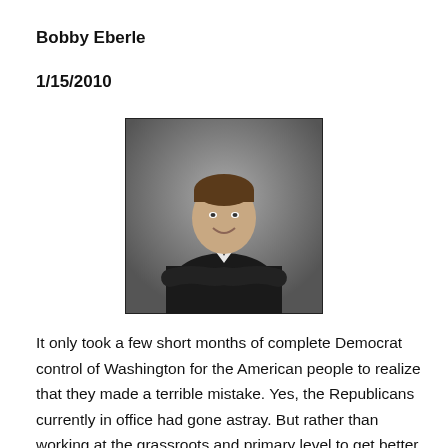Bobby Eberle
1/15/2010
[Figure (photo): Professional headshot of Bobby Eberle, a man in a dark suit with arms crossed, smiling, against a gray background.]
It only took a few short months of complete Democrat control of Washington for the American people to realize that they made a terrible mistake. Yes, the Republicans currently in office had gone astray. But rather than working at the grassroots and primary level to get better Republicans, voters turned to the Democrats. And look